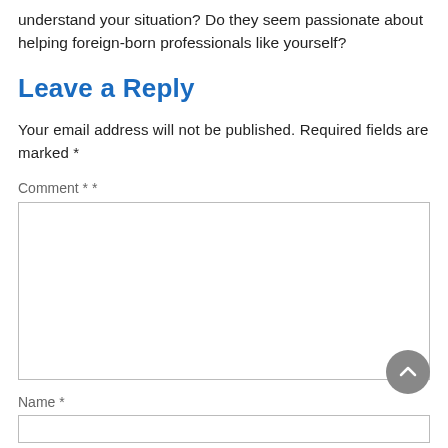understand your situation? Do they seem passionate about helping foreign-born professionals like yourself?
Leave a Reply
Your email address will not be published. Required fields are marked *
Comment * *
Name *